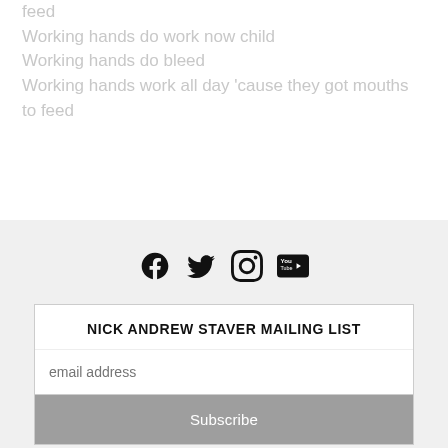feed
Working hands do work now child
Working hands do bleed
Working hands work all day 'cause they got mouths to feed
[Figure (other): Social media icons: Facebook, Twitter, Instagram, YouTube]
NICK ANDREW STAVER MAILING LIST
email address
Subscribe